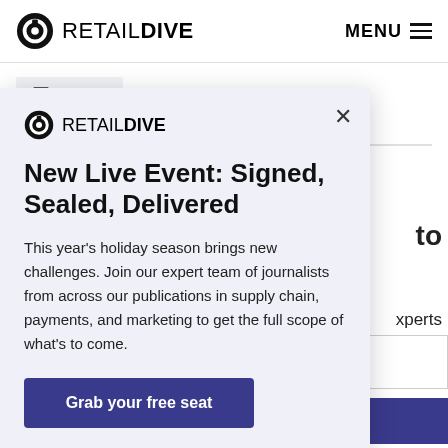RETAIL DIVE  MENU
EMAIL
[Figure (screenshot): Retail Dive website screenshot showing a modal popup over a webpage. The modal contains the Retail Dive logo, a close button (X), a bold headline 'New Live Event: Signed, Sealed, Delivered', descriptive text about the holiday season event, and a 'Grab your free seat' CTA button. Behind the modal partially visible are page elements including 'to', 'xperts', an input box, and a blue button.]
New Live Event: Signed, Sealed, Delivered
This year's holiday season brings new challenges. Join our expert team of journalists from across our publications in supply chain, payments, and marketing to get the full scope of what's to come.
Grab your free seat